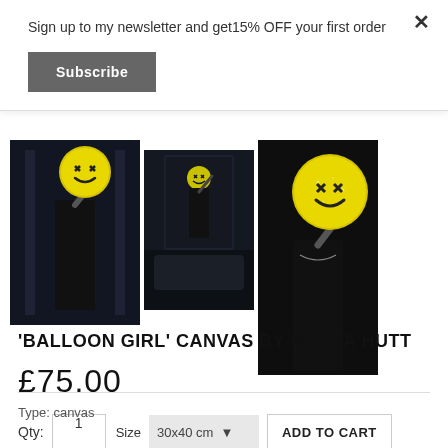Sign up to my newsletter and get15% OFF your first order
Subscribe
[Figure (photo): Three photos of 'Balloon Girl' canvas artwork showing a woman in black holding a yellow emoji balloon with X eyes in front of her face, displayed in dark interior settings]
'BALLOON GIRL' CANVAS BY MARTA HUTT
£75.00
Qty: 1   Size 30x40 cm   ADD TO CART
Type: canvas